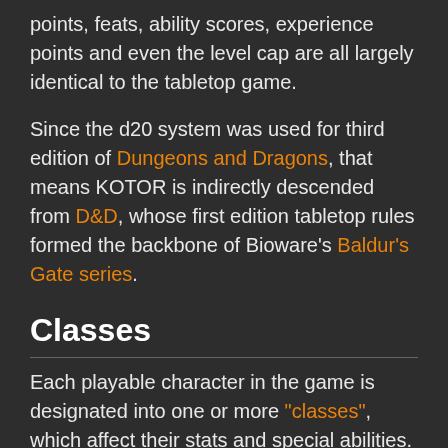points, feats, ability scores, experience points and even the level cap are all largely identical to the tabletop game.
Since the d20 system was used for third edition of Dungeons and Dragons, that means KOTOR is indirectly descended from D&D, whose first edition tabletop rules formed the backbone of Bioware's Baldur's Gate series.
Classes
Each playable character in the game is designated into one or more "classes", which affect their stats and special abilities. When characters level up (up to a maximum of 20), they improve their character based on their designated class.
The player character is unique as players start the game by choosing one of the three basic classes (Soldiers, Scouts, and Scoundrels) and later (between level 2-8 of